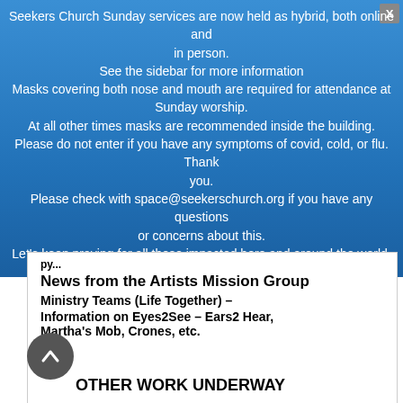Seekers Church Sunday services are now held as hybrid, both online and in person.
See the sidebar for more information
Masks covering both nose and mouth are required for attendance at Sunday worship.
At all other times masks are recommended inside the building.
Please do not enter if you have any symptoms of covid, cold, or flu. Thank you.
Please check with space@seekerschurch.org if you have any questions or concerns about this.
Let's keep praying for all those impacted here and around the world.
News from the Artists Mission Group
Ministry Teams (Life Together) –
Information on Eyes2See – Ears2 Hear, Martha's Mob, Crones, etc.
OTHER WORK UNDERWAY